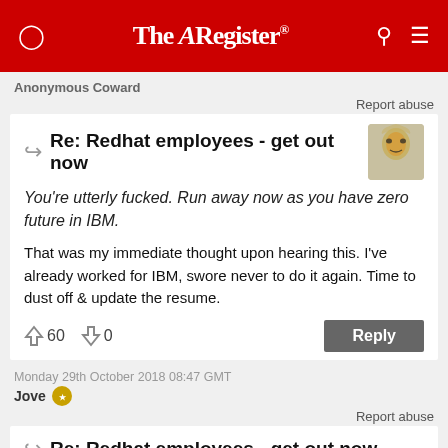The Register
Anonymous Coward
Report abuse
Re: Redhat employees - get out now
You're utterly fucked. Run away now as you have zero future in IBM.
That was my immediate thought upon hearing this. I've already worked for IBM, swore never to do it again. Time to dust off & update the resume.
60  0  Reply
Monday 29th October 2018 08:47 GMT
Jove
Report abuse
Re: Redhat employees - get out now
Another major corporate splashes out a fortune on